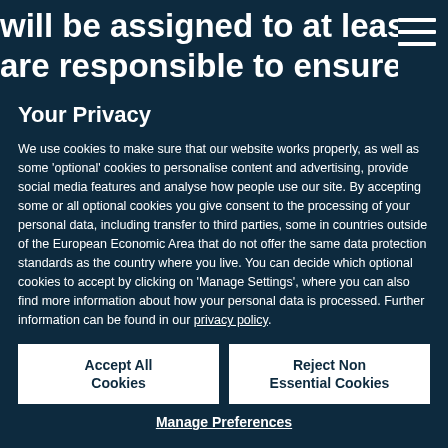will be assigned to at least 2-3 reviewers w are responsible to ensure the scientific equ
Your Privacy
We use cookies to make sure that our website works properly, as well as some 'optional' cookies to personalise content and advertising, provide social media features and analyse how people use our site. By accepting some or all optional cookies you give consent to the processing of your personal data, including transfer to third parties, some in countries outside of the European Economic Area that do not offer the same data protection standards as the country where you live. You can decide which optional cookies to accept by clicking on 'Manage Settings', where you can also find more information about how your personal data is processed. Further information can be found in our privacy policy.
Accept All Cookies
Reject Non Essential Cookies
Manage Preferences